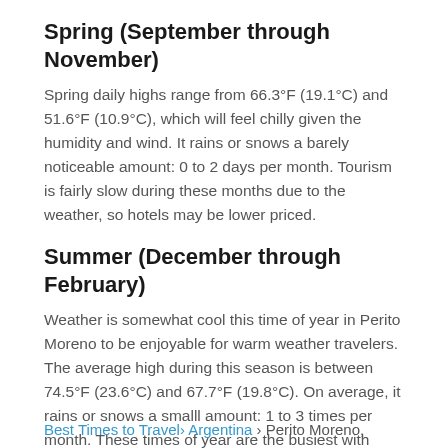Spring (September through November)
Spring daily highs range from 66.3°F (19.1°C) and 51.6°F (10.9°C), which will feel chilly given the humidity and wind. It rains or snows a barely noticeable amount: 0 to 2 days per month. Tourism is fairly slow during these months due to the weather, so hotels may be lower priced.
Summer (December through February)
Weather is somewhat cool this time of year in Perito Moreno to be enjoyable for warm weather travelers. The average high during this season is between 74.5°F (23.6°C) and 67.7°F (19.8°C). On average, it rains or snows a smalll amount: 1 to 3 times per month. These times of year are the busiest with tourists.
Best Times to Travel› Argentina › Perito Moreno,